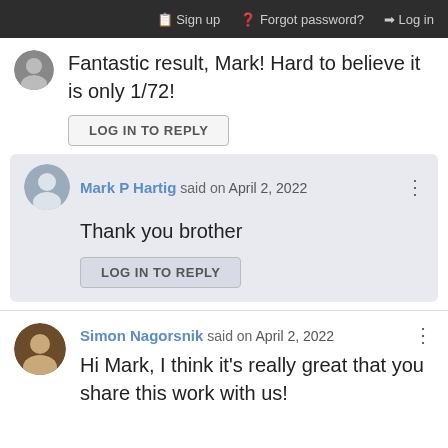Sign up  Forgot password?  Log in
[Figure (photo): User avatar photo, small circular thumbnail at top left]
Fantastic result, Mark! Hard to believe it is only 1/72!
LOG IN TO REPLY
Mark P Hartig said on April 2, 2022
Thank you brother
LOG IN TO REPLY
Simon Nagorsnik said on April 2, 2022
Hi Mark, I think it's really great that you share this work with us!